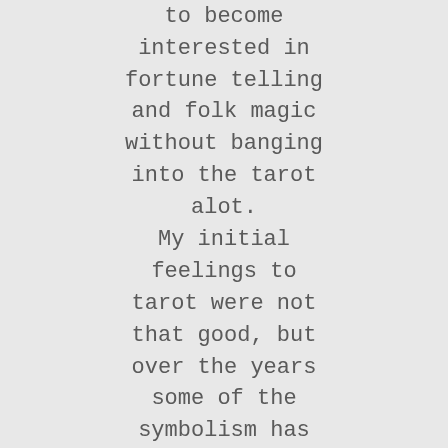Runes are best on their own.
You are unlikely to become interested in fortune telling and folk magic without banging into the tarot alot.
My initial feelings to tarot were not that good, but over the years some of the symbolism has begun to connect with me much more.